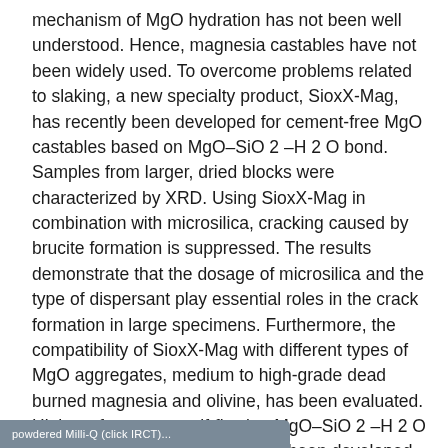mechanism of MgO hydration has not been well understood. Hence, magnesia castables have not been widely used. To overcome problems related to slaking, a new specialty product, SioxX-Mag, has recently been developed for cement-free MgO castables based on MgO–SiO2–H2O bond. Samples from larger, dried blocks were characterized by XRD. Using SioxX-Mag in combination with microsilica, cracking caused by brucite formation is suppressed. The results demonstrate that the dosage of microsilica and the type of dispersant play essential roles in the crack formation in large specimens. Furthermore, the compatibility of SioxX-Mag with different types of MgO aggregates, medium to high-grade dead burned magnesia and olivine, has been evaluated. High-performance, self-flowing MgO–SiO2–H2O gel bonded MgO castables have been developed, exhibiting good workability and setting behavior while hot-properties are maintained.
powdered Milli-Q (click IRCT)...